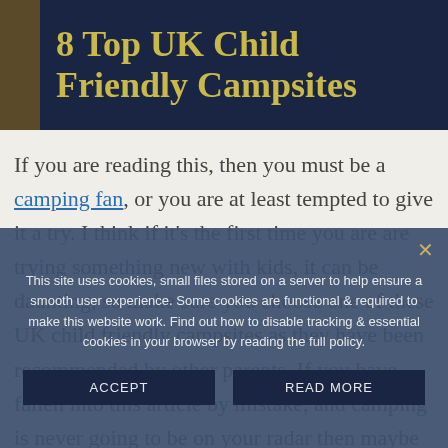8 Top UK Child Friendly Campsites
If you are reading this, then you must be a camping fan, or you are at least tempted to give it a try. I think if it's the first time you are are trying something new with kids, it can be daunting, so make sure you choose one of these UK child friendly campsites as they have been recommended by other parents.  If you have fallen into this article by mistake, and camping is never going to be on your radar then maybe you might consider giving glamping a go...
This site uses cookies, small files stored on a server to help ensure a smooth user experience. Some cookies are functional & required to make this website work. Find out how to disable tracking & essential cookies in your browser by reading the full policy.